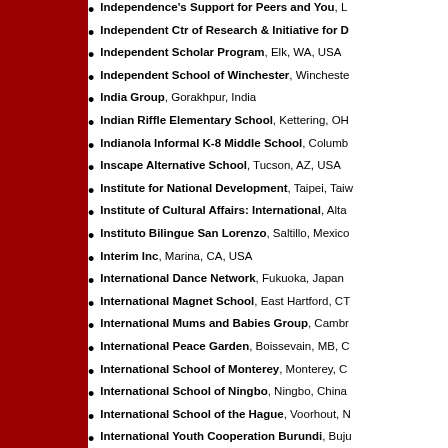Independence's Support for Peers and You, L
Independent Ctr of Research & Initiative for D
Independent Scholar Program, Elk, WA, USA
Independent School of Winchester, Winchester
India Group, Gorakhpur, India
Indian Riffle Elementary School, Kettering, OH
Indianola Informal K-8 Middle School, Columb
Inscape Alternative School, Tucson, AZ, USA
Institute for National Development, Taipei, Taiw
Institute of Cultural Affairs: International, Alta
Instituto Bilingue San Lorenzo, Saltillo, Mexico
Interim Inc, Marina, CA, USA
International Dance Network, Fukuoka, Japan
International Magnet School, East Hartford, CT
International Mums and Babies Group, Cambr
International Peace Garden, Boissevain, MB, C
International School of Monterey, Monterey, C
International School of Ningbo, Ningbo, China
International School of the Hague, Voorhout, N
International Youth Cooperation Burundi, Buju
Inverness Global Art Group, Inverness, Scotlan
Ione United Church of Christ Middle School, I
Isabella Dicken Elementary, Fernie, BC, Canad
Isikkent, Izmir, Turkey
Isla Popa II, Panama, Isla Colon, Republic of Pa
Island Discovery, Cowichan Nature Program, D
ISPP Elementary Art, Phnom Penh, Cambodia
It's All in Your Head-After School Art, Old Tow
Iwaizumi Junior High School, Iwate, Japan
Iwaizumi Senior High School, Iwate, Japan